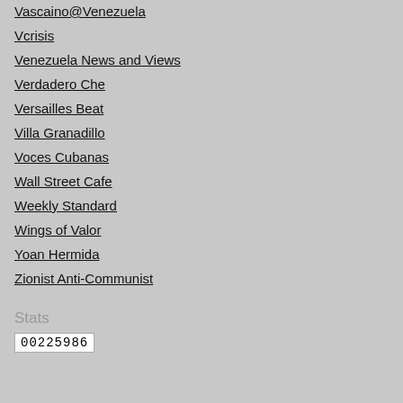Vascaino@Venezuela
Vcrisis
Venezuela News and Views
Verdadero Che
Versailles Beat
Villa Granadillo
Voces Cubanas
Wall Street Cafe
Weekly Standard
Wings of Valor
Yoan Hermida
Zionist Anti-Communist
Stats
00225986